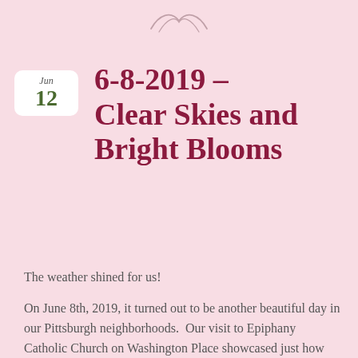[Figure (illustration): Decorative swirl/flourish ornament at the top center of the page]
6-8-2019 – Clear Skies and Bright Blooms
Jun
12
The weather shined for us!
On June 8th, 2019, it turned out to be another beautiful day in our Pittsburgh neighborhoods.  Our visit to Epiphany Catholic Church on Washington Place showcased just how many hidden gems our city contains.  This beautiful church was actually built in 1902!
[Figure (photo): Interior photo of Epiphany Catholic Church showing ornate architecture with arches and religious artwork]